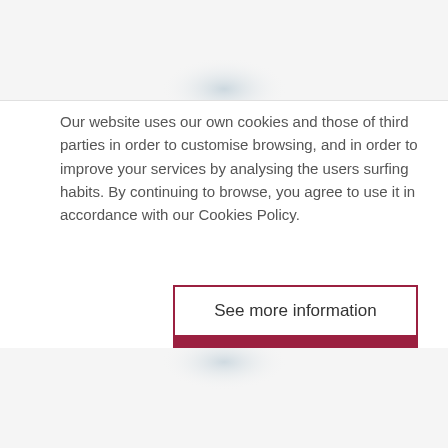Our website uses our own cookies and those of third parties in order to customise browsing, and in order to improve your services by analysing the users surfing habits. By continuing to browse, you agree to use it in accordance with our Cookies Policy.
See more information
Accept